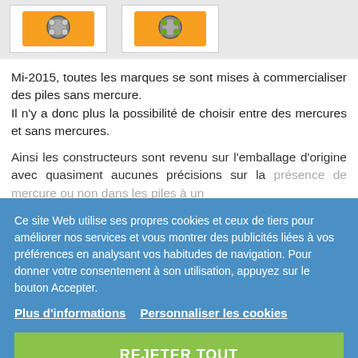[Figure (photo): Two product images of hearing aid batteries in orange packaging, shown side by side on a light grey background.]
Mi-2015, toutes les marques se sont mises à commercialiser des piles sans mercure.
Il n'y a donc plus la possibilité de choisir entre des mercures et sans mercures.
Ainsi les constructeurs sont revenu sur l'emballage d'origine avec quasiment aucunes précisions sur la présence de mercure ou non dans les piles à un
Ce site Web utilise ses propres cookies et ceux de tiers pour améliorer nos services et vous montrer des publicités liées à vos préférences en analysant vos habitudes de navigation. Pour donner votre consentement à son utilisation, appuyez sur le bouton Accepter.
Plus d'informations   Personnaliser les cookies
REJETER TOUT
J'ACCEPTE